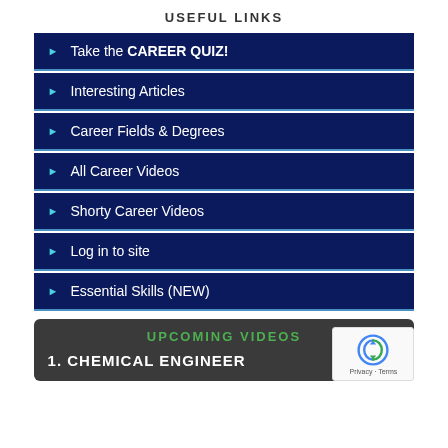USEFUL LINKS
► Take the CAREER QUIZ!
► Interesting Articles
► Career Fields & Degrees
► All Career Videos
► Shorty Career Videos
► Log in to site
► Essential Skills (NEW)
UPCOMING VIDEOS
1. CHEMICAL ENGINEER